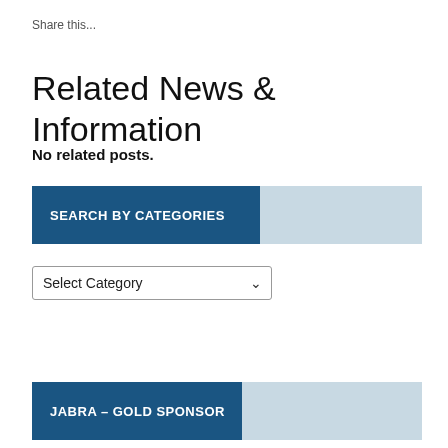Share this...
Related News & Information
No related posts.
SEARCH BY CATEGORIES
Select Category
JABRA – GOLD SPONSOR